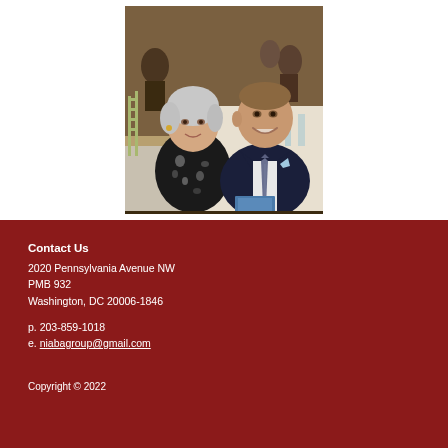[Figure (photo): Two people seated at a formal dinner table — an elderly woman in a floral top on the left and a smiling man in a dark suit with a tie on the right. Other people and restaurant setting visible in background.]
Contact Us
2020 Pennsylvania Avenue NW
PMB 932
Washington, DC 20006-1846

p. 203-859-1018
e. niabagroup@gmail.com
Copyright © 2022